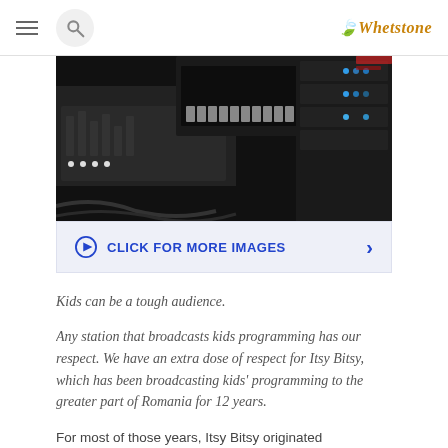Whetstone
[Figure (photo): A dark studio broadcast setup showing mixing boards, keyboards, and server/rack equipment with blue LED indicators]
CLICK FOR MORE IMAGES
Kids can be a tough audience.
Any station that broadcasts kids programming has our respect. We have an extra dose of respect for Itsy Bitsy, which has been broadcasting kids' programming to the greater part of Romania for 12 years.
For most of those years, Itsy Bitsy originated programming from an analog studio. That had to be tough on talent.  Not only were they performing to all those little minds that don't miss a thing, but they had to do it from a studio that made it impossible to do